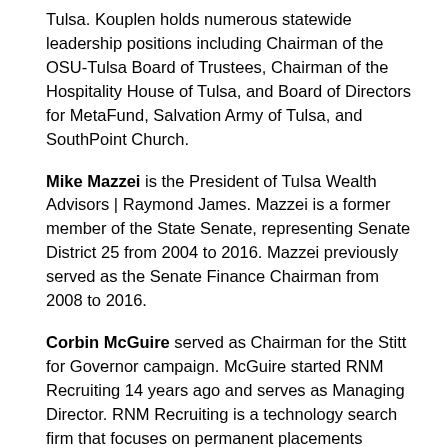Tulsa. Kouplen holds numerous statewide leadership positions including Chairman of the OSU-Tulsa Board of Trustees, Chairman of the Hospitality House of Tulsa, and Board of Directors for MetaFund, Salvation Army of Tulsa, and SouthPoint Church.
Mike Mazzei is the President of Tulsa Wealth Advisors | Raymond James. Mazzei is a former member of the State Senate, representing Senate District 25 from 2004 to 2016. Mazzei previously served as the Senate Finance Chairman from 2008 to 2016.
Corbin McGuire served as Chairman for the Stitt for Governor campaign. McGuire started RNM Recruiting 14 years ago and serves as Managing Director. RNM Recruiting is a technology search firm that focuses on permanent placements nationwide. Corbin graduated from the University of Oklahoma in 1995 and currently resides in Tulsa.
Geoffrey Long was general counsel for the Stitt for Governor campaign and will serve as the General Counsel to the transition team. Before entering into transition planning, he worked